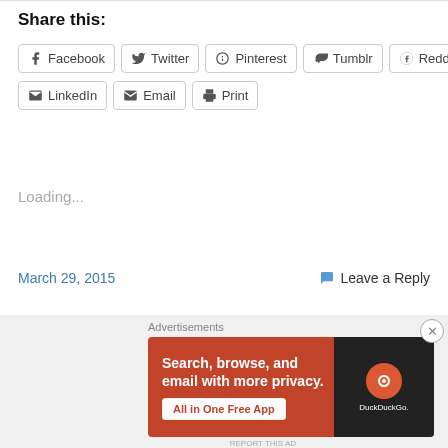Share this:
Facebook
Twitter
Pinterest
Tumblr
Reddit
LinkedIn
Email
Print
Loading...
March 29, 2015
Leave a Reply
Advertisements
[Figure (other): DuckDuckGo advertisement banner: orange background with text 'Search, browse, and email with more privacy. All in One Free App' and a phone showing the DuckDuckGo app logo]